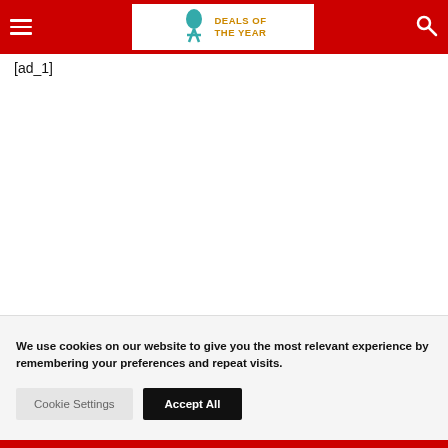DEALS OF THE YEAR
[ad_1]
We use cookies on our website to give you the most relevant experience by remembering your preferences and repeat visits.
Cookie Settings   Accept All